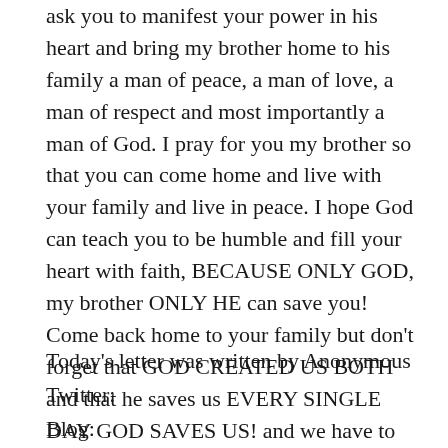ask you to manifest your power in his heart and bring my brother home to his family a man of peace, a man of love, a man of respect and most importantly a man of God. I pray for you my brother so that you can come home and live with your family and live in peace. I hope God can teach you to be humble and fill your heart with faith, BECAUSE ONLY GOD, my brother ONLY HE can save you! Come back home to your family but don't forget that GOD CREATED US BOTH and that he saves us EVERY SINGLE DAY GOD SAVES US! and we have to thank him because he loves us and his love for us is what keeps us alive.
Today's letter was written by Anonymous
Twitter:
Blog:
Written From: San Diego, CA